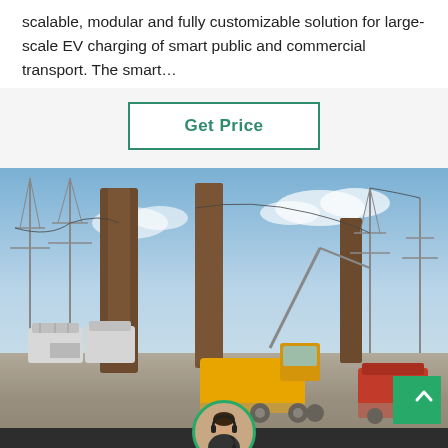scalable, modular and fully customizable solution for large-scale EV charging of smart public and commercial transport. The smart…
[Figure (other): Button labeled 'Get Price' with teal border on light gray background]
[Figure (photo): Outdoor electrical substation with large transformers, tall transmission towers and power lines, a yellow utility truck in the center, and red equipment on the right, under a partly cloudy sky]
Leave Message
Chat Online